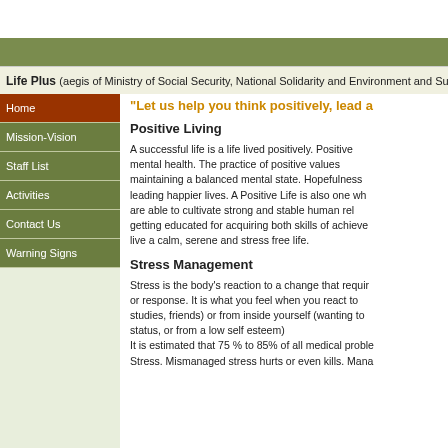Life Plus (aegis of Ministry of Social Security, National Solidarity and Environment and Sustaina...
"Let us help you think positively, lead a...
Positive Living
A successful life is a life lived positively. Positive mental health. The practice of positive values maintaining a balanced mental state. Hopefulness leading happier lives. A Positive Life is also one wh are able to cultivate strong and stable human rel getting educated for acquiring both skills of achieve live a calm, serene and stress free life.
Stress Management
Stress is the body's reaction to a change that requir or response. It is what you feel when you react to studies, friends) or from inside yourself (wanting to status, or from a low self esteem)
It is estimated that 75 % to 85% of all medical proble Stress. Mismanaged stress hurts or even kills. Mana...